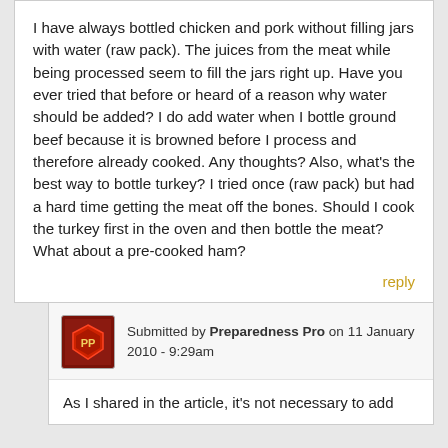I have always bottled chicken and pork without filling jars with water (raw pack). The juices from the meat while being processed seem to fill the jars right up. Have you ever tried that before or heard of a reason why water should be added? I do add water when I bottle ground beef because it is browned before I process and therefore already cooked. Any thoughts? Also, what's the best way to bottle turkey? I tried once (raw pack) but had a hard time getting the meat off the bones. Should I cook the turkey first in the oven and then bottle the meat? What about a pre-cooked ham?
reply
Submitted by Preparedness Pro on 11 January 2010 - 9:29am
As I shared in the article, it's not necessary to add